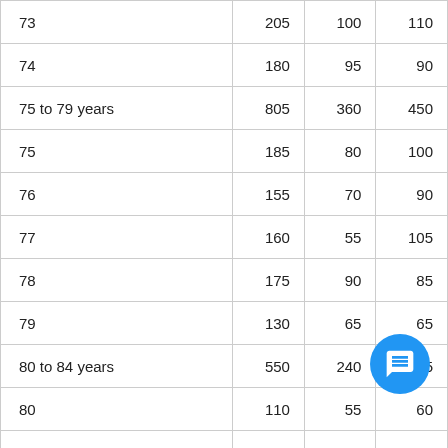| Age | Total | Male | Female |
| --- | --- | --- | --- |
| 73 | 205 | 100 | 110 |
| 74 | 180 | 95 | 90 |
| 75 to 79 years | 805 | 360 | 450 |
| 75 | 185 | 80 | 100 |
| 76 | 155 | 70 | 90 |
| 77 | 160 | 55 | 105 |
| 78 | 175 | 90 | 85 |
| 79 | 130 | 65 | 65 |
| 80 to 84 years | 550 | 240 | 305 |
| 80 | 110 | 55 | 60 |
| 81 | 115 | 60 | 60 |
| 82 | 100 | 40 | 60 |
| 83 | 110 | 50 | 60 |
| 84 | 110 | 40 | 70 |